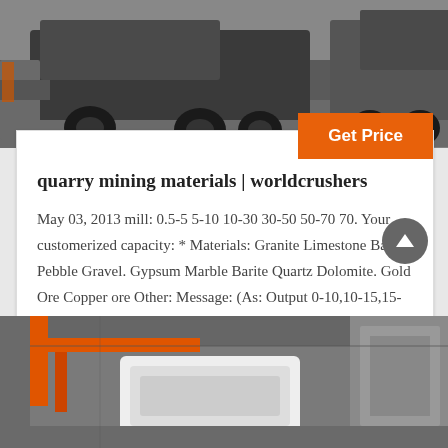[Figure (photo): Industrial mining truck/crusher equipment on road, black and white toned photo]
quarry mining materials | worldcrushers
May 03, 2013 mill: 0.5-5 5-10 10-30 30-50 50-70 70. Your customerized capacity: * Materials: Granite Limestone Basalt Pebble Gravel. Gypsum Marble Barite Quartz Dolomite. Gold Ore Copper ore Other: Message: (As: Output 0-10,10-15,15-20mm for Crushing or 75 microns (200 mesh) for Grinding;)
[Figure (photo): Industrial crusher/mining facility interior with orange crane structure, toned photo]